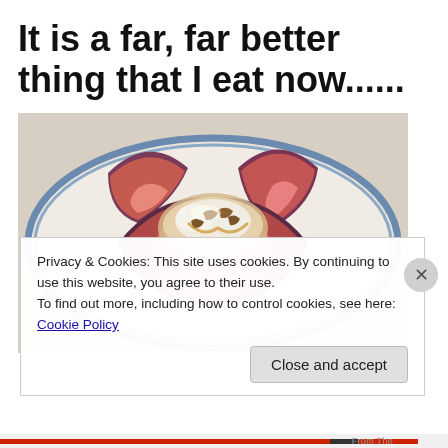It is a far, far better thing that I eat now......
[Figure (photo): Sliced figs with walnuts and cream on a blue-rimmed white plate, close-up food photography]
Privacy & Cookies: This site uses cookies. By continuing to use this website, you agree to their use.
To find out more, including how to control cookies, see here: Cookie Policy
Close and accept